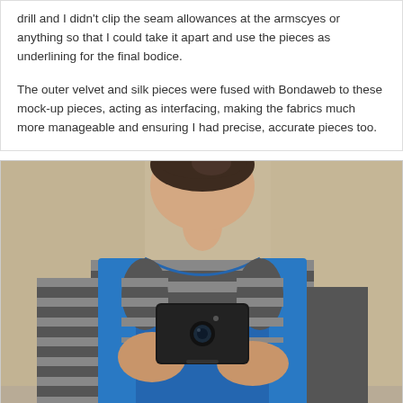drill and I didn't clip the seam allowances at the armscyes or anything so that I could take it apart and use the pieces as underlining for the final bodice.

The outer velvet and silk pieces were fused with Bondaweb to these mock-up pieces, acting as interfacing, making the fabrics much more manageable and ensuring I had precise, accurate pieces too.
[Figure (photo): A person taking a mirror selfie in a bathroom, wearing a blue bodice mock-up over a black and grey striped long-sleeve shirt. They are holding a black smartphone up to take the photo. The background shows a beige/tan bathroom wall.]